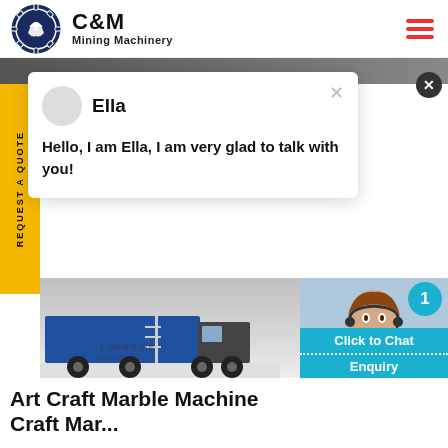[Figure (logo): C&M Mining Machinery logo with eagle/gear emblem and text]
[Figure (screenshot): Website screenshot showing banner area with yellow REQUEST A QUOTE tab, a chat popup with Ella saying Hello I am Ella I am very glad to talk with you, a truck photo, a customer service agent photo with badge showing 1, Click to Chat and Enquiry buttons, and a partial page title Art Craft Marble Machine...]
Ella
Hello, I am Ella, I am very glad to talk with you!
REQUEST A QUOTE
Click to Chat
Enquiry
Art Craft Marble Machine